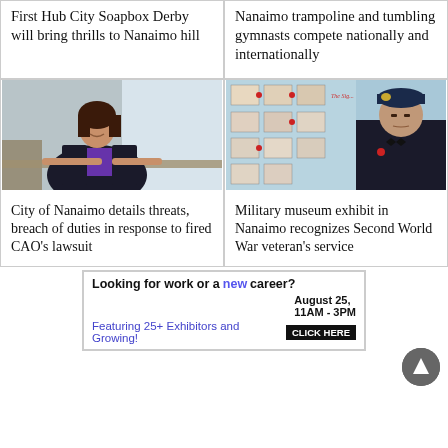First Hub City Soapbox Derby will bring thrills to Nanaimo hill
Nanaimo trampoline and tumbling gymnasts compete nationally and internationally
[Figure (photo): Woman in black blazer and purple top leaning on a railing indoors]
City of Nanaimo details threats, breach of duties in response to fired CAO’s lawsuit
[Figure (photo): Elderly man in military beret standing in front of a military museum display board with photos and medals]
Military museum exhibit in Nanaimo recognizes Second World War veteran’s service
Looking for work or a new career? August 25, 11AM - 3PM
Featuring 25+ Exhibitors and Growing! CLICK HERE